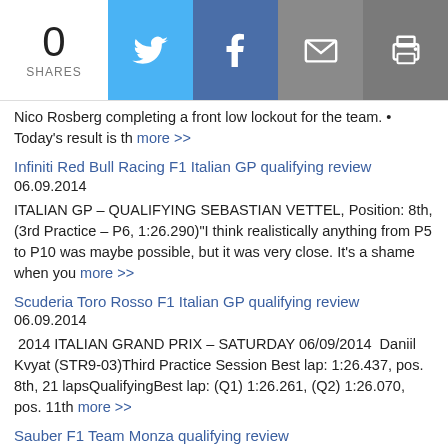0 SHARES
Nico Rosberg completing a front low lockout for the team. • Today's result is th more >>
Infiniti Red Bull Racing F1 Italian GP qualifying review
06.09.2014
ITALIAN GP – QUALIFYING SEBASTIAN VETTEL, Position: 8th, (3rd Practice – P6, 1:26.290)"I think realistically anything from P5 to P10 was maybe possible, but it was very close. It's a shame when you more >>
Scuderia Toro Rosso F1 Italian GP qualifying review
06.09.2014
2014 ITALIAN GRAND PRIX – SATURDAY 06/09/2014  Daniil Kvyat (STR9-03)Third Practice Session Best lap: 1:26.437, pos. 8th, 21 lapsQualifyingBest lap: (Q1) 1:26.261, (Q2) 1:26.070, pos. 11th more >>
Sauber F1 Team Monza qualifying review
06.09.2014
Italian Grand Prix – Qualifying – Saturday, 06.09.2014Weather: sunny and dry, 22-26°C air, 32-46°C trackIn qualifying for the Italian Grand Prix in Monza, Adrian Sutil and Esteban Gutiérrez came in 15th and 16th, more >>
Caterham F1 Team Italian GP qualifying review
06.09.2014
2014 ITALIAN GRAND PRIX: FP3 & QUALIFYINGAutodromo di